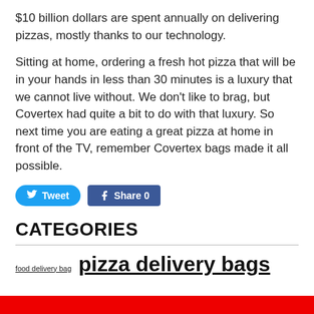$10 billion dollars are spent annually on delivering pizzas, mostly thanks to our technology.
Sitting at home, ordering a fresh hot pizza that will be in your hands in less than 30 minutes is a luxury that we cannot live without. We don't like to brag, but Covertex had quite a bit to do with that luxury. So next time you are eating a great pizza at home in front of the TV, remember Covertex bags made it all possible.
CATEGORIES
food delivery bag  pizza delivery bags